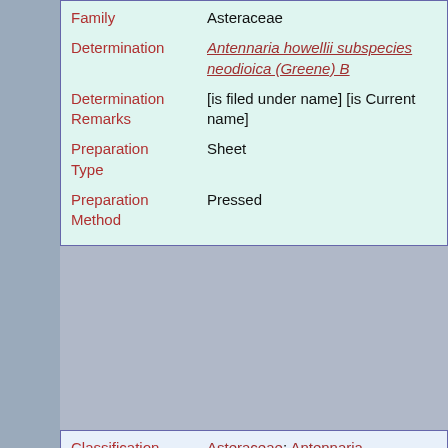| Field | Value |
| --- | --- |
| Family | Asteraceae |
| Determination | Antennaria howellii subspecies neodioica (Greene) B... |
| Determination Remarks | [is filed under name] [is Current name] |
| Preparation Type | Sheet |
| Preparation Method | Pressed |
| Field | Value |
| --- | --- |
| Classification | Asteraceae: Antennaria |
| Harvard University Herbaria Barcode(s) | 01007835 |
| Collector | M. L. Fernald & F. G. Floyd |
| Country | United States of America |
| State | Vermont |
| Geography | North America: North America (CA, US, MX) (Region): United States of America: Vermont: Windham County: Vernon |
| Locality | Vernon |